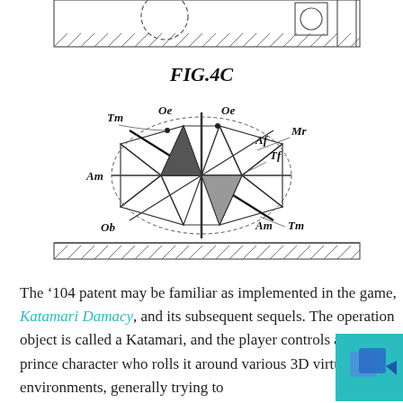[Figure (engineering-diagram): Patent diagram FIG.4C showing a Katamari ball object labeled with reference numerals Tm, Oe, Mr, Am, Af, Tf, Ob on a hatched ground surface.]
The '104 patent may be familiar as implemented in the game, Katamari Damacy, and its subsequent sequels. The operation object is called a Katamari, and the player controls a little prince character who rolls it around various 3D virtual environments, generally trying to